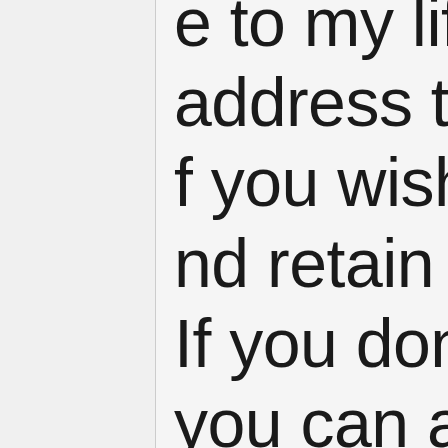e to my life? address tha f you wish to nd retain my If you don't you can add my life, I am discuss the